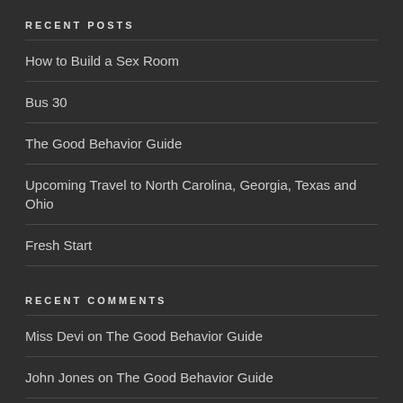RECENT POSTS
How to Build a Sex Room
Bus 30
The Good Behavior Guide
Upcoming Travel to North Carolina, Georgia, Texas and Ohio
Fresh Start
RECENT COMMENTS
Miss Devi on The Good Behavior Guide
John Jones on The Good Behavior Guide